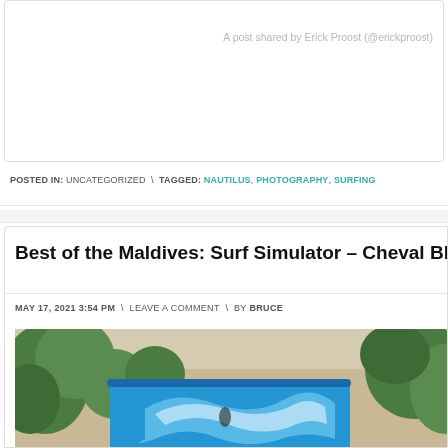A post shared by Erick Proost (@erickproost)
POSTED IN: UNCATEGORIZED \ TAGGED: NAUTILUS, PHOTOGRAPHY, SURFING
Best of the Maldives: Surf Simulator – Cheval Blanc Ran...
MAY 17, 2021 3:54 PM \ LEAVE A COMMENT \ BY BRUCE
[Figure (photo): Aerial view of a blue surf simulator wave pool surrounded by tropical palm trees and white sandy beach]